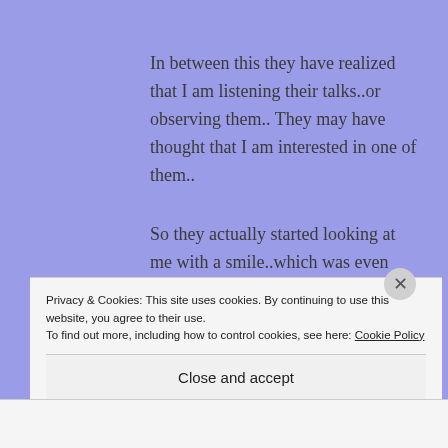In between this they have realized that I am listening their talks..or observing them.. They may have thought that I am interested in one of them..
So they actually started looking at me with a smile..which was even more hilarious.
One of them has loosened her hair and
Privacy & Cookies: This site uses cookies. By continuing to use this website, you agree to their use.
To find out more, including how to control cookies, see here: Cookie Policy
Close and accept